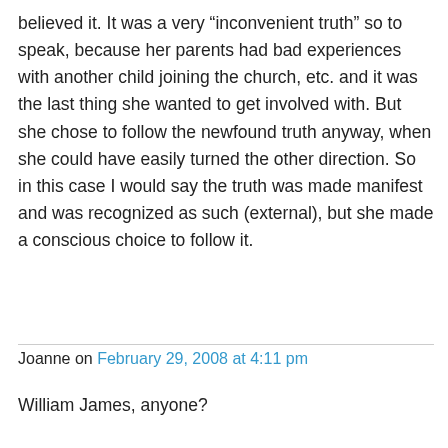believed it. It was a very “inconvenient truth” so to speak, because her parents had bad experiences with another child joining the church, etc. and it was the last thing she wanted to get involved with. But she chose to follow the newfound truth anyway, when she could have easily turned the other direction. So in this case I would say the truth was made manifest and was recognized as such (external), but she made a conscious choice to follow it.
Joanne on February 29, 2008 at 4:11 pm
William James, anyone?